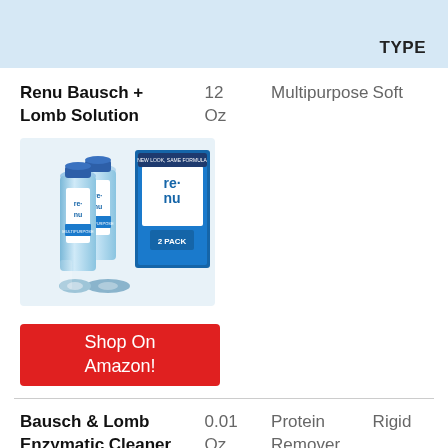TYPE
Renu Bausch +
Lomb Solution
12 Oz
Multipurpose
Soft
[Figure (photo): Renu Bausch + Lomb multipurpose contact lens solution bottles (2-pack) with blue packaging]
Shop On Amazon!
Bausch & Lomb
Enzymatic Cleaner
0.01 Oz
Protein Remover
Rigid
[Figure (photo): Partial view of Bausch & Lomb Enzymatic Cleaner product with yellow packaging]